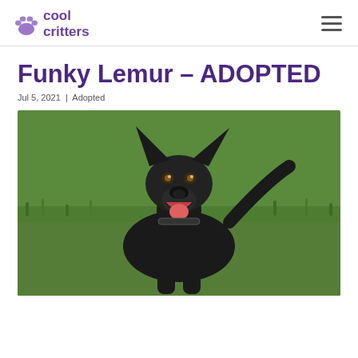cool critters
Funky Lemur – ADOPTED
Jul 5, 2021  |  Adopted
[Figure (photo): Black dog with large ears standing on green grass, mouth open and smiling, wearing a collar, photographed outdoors]